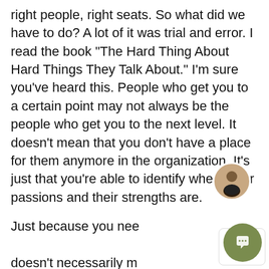right people, right seats. So what did we have to do? A lot of it was trial and error. I read the book "The Hard Thing About Hard Things They Talk About." I'm sure you've heard this. People who get you to a certain point may not always be the people who get you to the next level. It doesn't mean that you don't have a place for them anymore in the organization. It's just that you're able to identify where their passions and their strengths are.

Just because you need someone in a role doesn't necessarily mean the person who is currently in that role is the right person. Just as your job description changes as the needs of the business change as the market changes, you're going to have team members that can't evolve alongside that change. They grow out of being the right fit for that role. Some team
[Figure (screenshot): Chatbot popup overlay with female avatar photo at top, close X button, and message: 'Hey there - I'm your friendly chatbot with an employee's persona... Can I help you today?' with a green circular chat button at bottom right.]